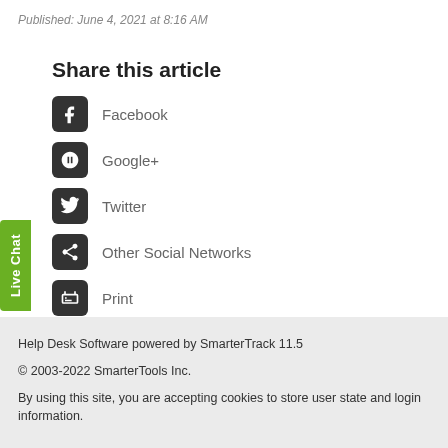Published: June 4, 2021 at 8:16 AM
Share this article
Facebook
Google+
Twitter
Other Social Networks
Print
Help Desk Software powered by SmarterTrack 11.5
© 2003-2022 SmarterTools Inc.
By using this site, you are accepting cookies to store user state and login information.